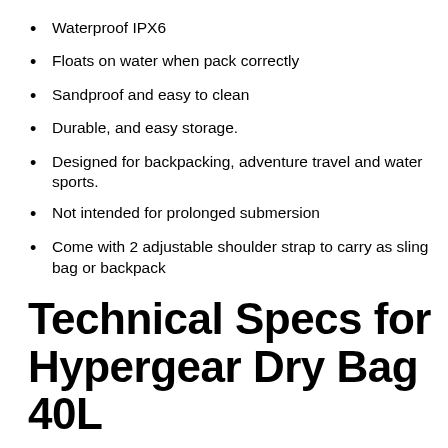Waterproof IPX6
Floats on water when pack correctly
Sandproof and easy to clean
Durable, and easy storage.
Designed for backpacking, adventure travel and water sports.
Not intended for prolonged submersion
Come with 2 adjustable shoulder strap to carry as sling bag or backpack
Technical Specs for Hypergear Dry Bag 40L